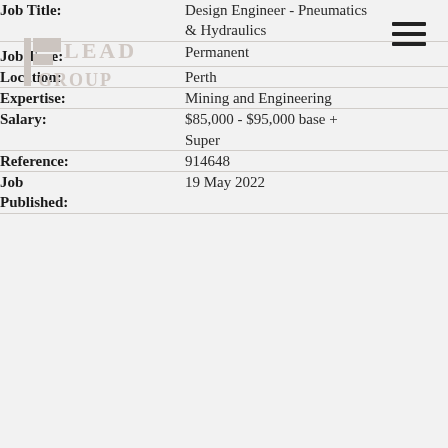| Field | Value |
| --- | --- |
| Job Title: | Design Engineer - Pneumatics & Hydraulics |
| Job Type: | Permanent |
| Location: | Perth |
| Expertise: | Mining and Engineering |
| Salary: | $85,000 - $95,000 base + Super |
| Reference: | 914648 |
| Job Published: | 19 May 2022 |